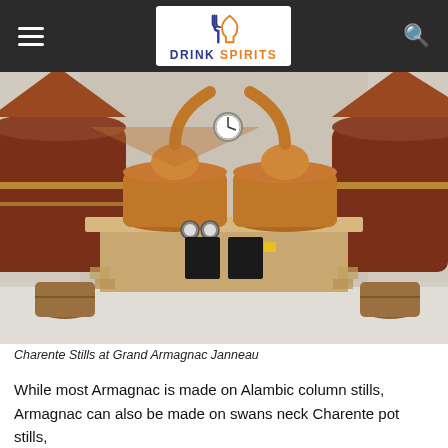Drink Spirits
[Figure (photo): Charente copper pot stills at Grand Armagnac Janneau distillery, showing two large copper swan-neck stills mounted on a brick and wood base platform, with wooden barrel fixtures on either side, in an industrial distillery interior.]
Charente Stills at Grand Armagnac Janneau
While most Armagnac is made on Alambic column stills, Armagnac can also be made on swans neck Charente pot stills,